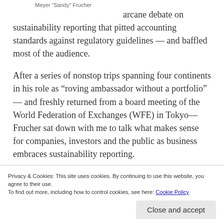Meyer “Sandy” Frucher
arcane debate on sustainability reporting that pitted accounting standards against regulatory guidelines — and baffled most of the audience.
After a series of nonstop trips spanning four continents in his role as “roving ambassador without a portfolio” — and freshly returned from a board meeting of the World Federation of Exchanges (WFE) in Tokyo— Frucher sat down with me to talk what makes sense for companies, investors and the public as business embraces sustainability reporting.
Privacy & Cookies: This site uses cookies. By continuing to use this website, you agree to their use. To find out more, including how to control cookies, see here: Cookie Policy
Close and accept